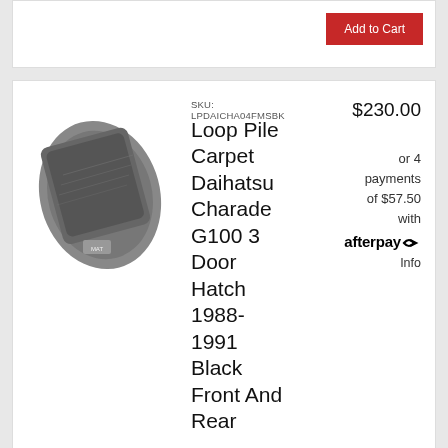[Figure (other): Add to Cart button top strip on white card background]
[Figure (photo): Gray/black loop pile car floor mat carpet, folded, showing front and rear sections]
SKU: LPDAICHA04FMSBK
Loop Pile Carpet Daihatsu Charade G100 3 Door Hatch 1988-1991 Black Front And Rear
$230.00
or 4 payments of $57.50 with afterpay Info
Not yet rated
Add to Cart